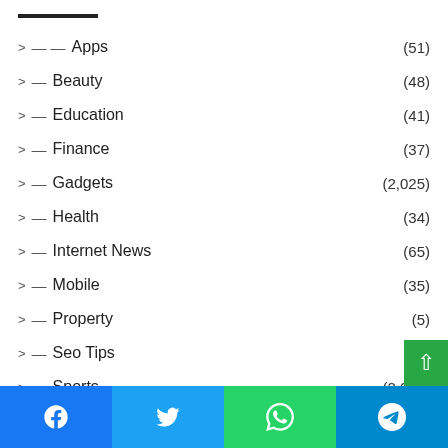> — — Apps (51)
> — Beauty (48)
> — Education (41)
> — Finance (37)
> — Gadgets (2,025)
> — Health (34)
> — Internet News (65)
> — Mobile (35)
> — Property (5)
> — Seo Tips (49)
> — Sports (2,005)
> — Tech News
Facebook | Twitter | WhatsApp | Telegram